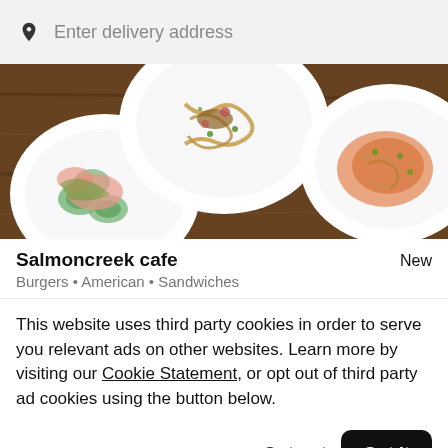Enter delivery address
[Figure (photo): Three white plates with gourmet food dishes on a dark wooden table: left plate has cucumber and salmon, center plate has noodles with toppings, right plate has orange-sauced dish]
Salmoncreek cafe
New
Burgers • American • Sandwiches
This website uses third party cookies in order to serve you relevant ads on other websites. Learn more by visiting our Cookie Statement, or opt out of third party ad cookies using the button below.
Opt out
Got it